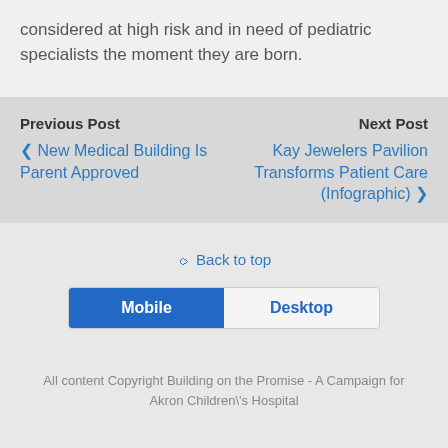considered at high risk and in need of pediatric specialists the moment they are born.
Previous Post
‹ New Medical Building Is Parent Approved
Next Post
Kay Jewelers Pavilion Transforms Patient Care (Infographic) ›
⌃ Back to top
Mobile  Desktop
All content Copyright Building on the Promise - A Campaign for Akron Children\'s Hospital